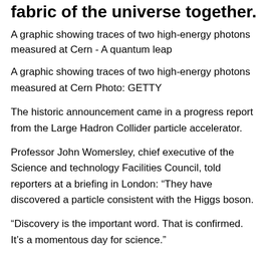fabric of the universe together.
[Figure (photo): A graphic showing traces of two high-energy photons measured at Cern - A quantum leap]
A graphic showing traces of two high-energy photons measured at Cern Photo: GETTY
The historic announcement came in a progress report from the Large Hadron Collider particle accelerator.
Professor John Womersley, chief executive of the Science and technology Facilities Council, told reporters at a briefing in London: “They have discovered a particle consistent with the Higgs boson.
“Discovery is the important word. That is confirmed. It’s a momentous day for science.”